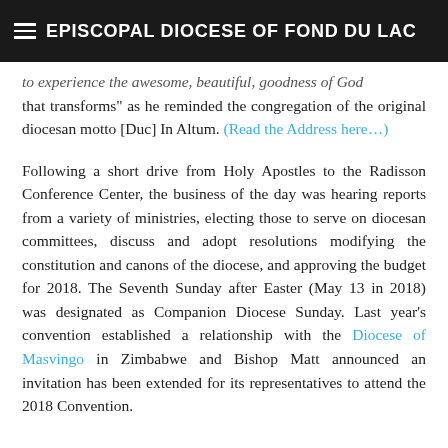EPISCOPAL DIOCESE OF FOND DU LAC
to experience the awesome, beautiful, goodness of God that transforms” as he reminded the congregation of the original diocesan motto [Duc] In Altum. (Read the Address here…)
Following a short drive from Holy Apostles to the Radisson Conference Center, the business of the day was hearing reports from a variety of ministries, electing those to serve on diocesan committees, discuss and adopt resolutions modifying the constitution and canons of the diocese, and approving the budget for 2018. The Seventh Sunday after Easter (May 13 in 2018) was designated as Companion Diocese Sunday. Last year’s convention established a relationship with the Diocese of Masvingo in Zimbabwe and Bishop Matt announced an invitation has been extended for its representatives to attend the 2018 Convention.